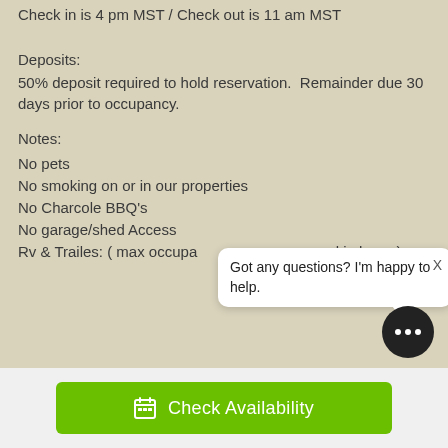Check in is 4 pm MST / Check out is 11 am MST
Deposits:
50% deposit required to hold reservation.  Remainder due 30 days prior to occupancy.
Notes:
No pets
No smoking on or in our properties
No Charcole BBQ's
No garage/shed Access
Rv & Trailes: ( max occupa... in home)
[Figure (screenshot): Chat popup bubble with text 'Got any questions? I'm happy to help.' and close X button, plus a round dark chat icon below]
Check Availability